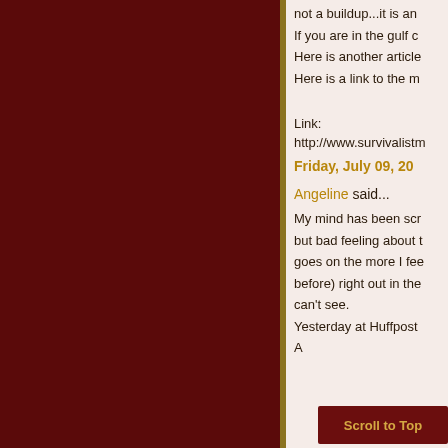not a buildup...it is an
If you are in the gulf c
Here is another article
Here is a link to the m
Link:
http://www.survivalistm
Friday, July 09, 20
Angeline said...
My mind has been scr
but bad feeling about t
goes on the more I fee
before) right out in the
can't see.
Yesterday at Huffpost
A
Scroll to Top